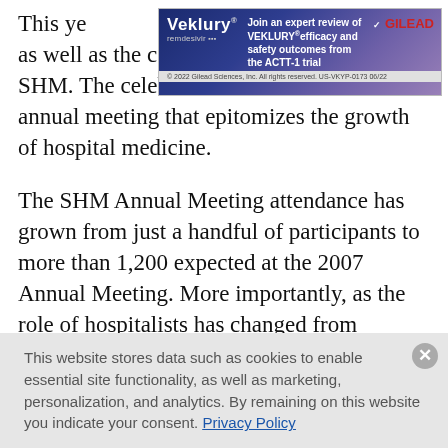[Figure (screenshot): Veklury (remdesivir) advertisement banner: 'Join an expert review of VEKLURY efficacy and safety outcomes from the ACTT-1 trial'. Blue/purple gradient background. Gilead logo in red. Copyright 2022 Gilead Sciences disclaimer at bottom.]
This ye[ar] Robert[ ... ]alist," as well as the celebration of the decade-old SHM. The celebration culminates in a stellar annual meeting that epitomizes the growth of hospital medicine.
The SHM Annual Meeting attendance has grown from just a handful of participants to more than 1,200 expected at the 2007 Annual Meeting. More importantly, as the role of hospitalists has changed from primarily focusing on providing care to the hospitalized patient to serving as the leader of quality improvement, a key staff educator, and a
This website stores data such as cookies to enable essential site functionality, as well as marketing, personalization, and analytics. By remaining on this website you indicate your consent. Privacy Policy